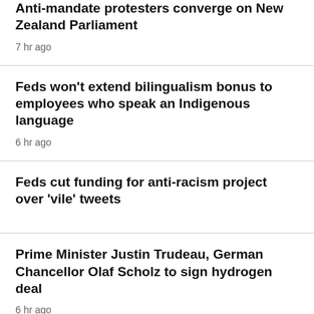Anti-mandate protesters converge on New Zealand Parliament
7 hr ago
Feds won't extend bilingualism bonus to employees who speak an Indigenous language
6 hr ago
Feds cut funding for anti-racism project over 'vile' tweets
Prime Minister Justin Trudeau, German Chancellor Olaf Scholz to sign hydrogen deal
6 hr ago
U.S. lawmakers, advocates pushing Ottawa to eliminate ArriveCan, open Nexus offices